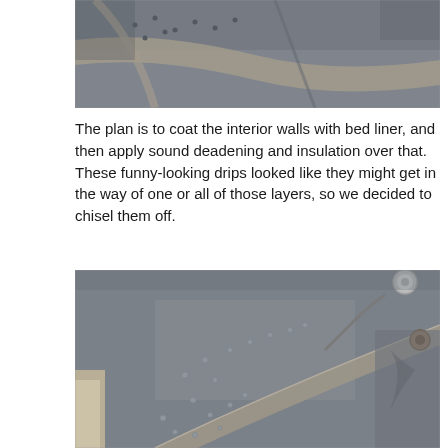[Figure (photo): Close-up photo of metal interior wall panels of a vehicle or aircraft, showing rivets and structural framing strips against grey painted metal surface, with some drip/bump formations visible on the surface.]
The plan is to coat the interior walls with bed liner, and then apply sound deadening and insulation over that. These funny-looking drips looked like they might get in the way of one or all of those layers, so we decided to chisel them off.
[Figure (photo): Close-up photo of grey metal interior wall panel showing numerous small rivet bumps/drips scattered across the surface, a curved structural seam strip running diagonally, wiring/cables visible in upper right, and some white insulation material visible at left edge.]